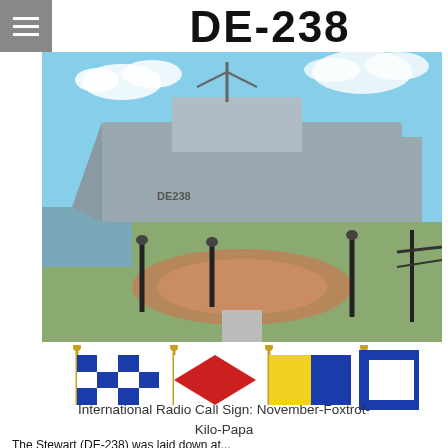DE-238
[Figure (photo): Photograph of USS Stewart (DE-238), a destroyer escort ship, docked at a memorial park with a circular paved area and black lamp posts in the foreground. The hull number DE238 is visible on the bow.]
[Figure (illustration): Four international maritime signal flags on poles representing the call sign November-Foxtrot-Kilo-Papa: a blue and white checkered flag (November), a red diamond on white (Foxtrot), a yellow and blue flag (Kilo), and a white and blue flag (Papa).]
International Radio Call Sign: November-Foxtrot-Kilo-Papa
The Stewart (DE-238) was laid down at...